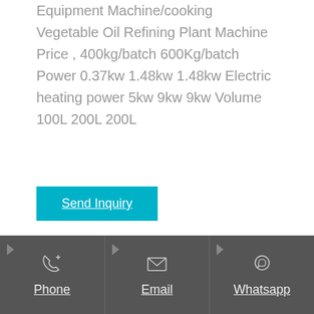Equipment Machine/cooking Vegetable Oil Refining Plant Machine Price , 400kg/batch 600Kg/batch Power 0.37kw 1.48kw 1.48kw Electric heating power 5kw 9kw 9kw Volume 100L 200L 200L
Send Inquiry
Phone
Email
Whatsapp